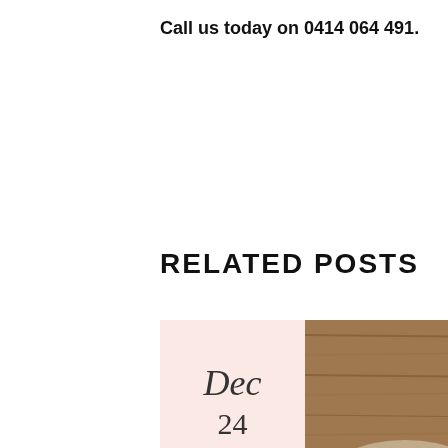Call us today on 0414 064 491.
RELATED POSTS
[Figure (photo): Photo of a burlap sack spilling coffee beans on a wooden surface, with a pink date badge overlay showing 'Dec 24']